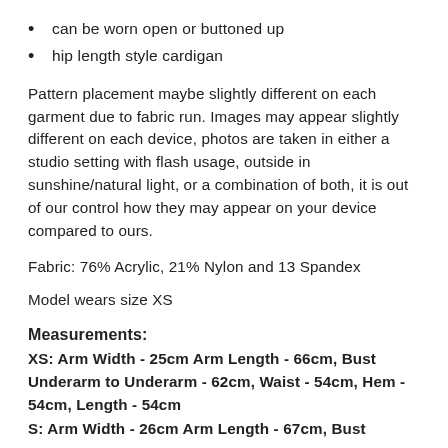can be worn open or buttoned up
hip length style cardigan
Pattern placement maybe slightly different on each garment due to fabric run. Images may appear slightly different on each device, photos are taken in either a studio setting with flash usage, outside in sunshine/natural light, or a combination of both, it is out of our control how they may appear on your device compared to ours.
Fabric: 76% Acrylic, 21% Nylon and 13 Spandex
Model wears size XS
Measurements:
XS: Arm Width - 25cm Arm Length - 66cm, Bust Underarm to Underarm - 62cm, Waist - 54cm, Hem - 54cm, Length - 54cm
S: Arm Width - 26cm Arm Length - 67cm, Bust